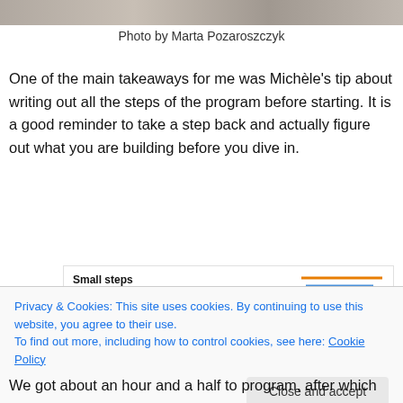[Figure (photo): Top strip of a photo showing a person, partially cropped]
Photo by Marta Pozaroszczyk
One of the main takeaways for me was Michèle's tip about writing out all the steps of the program before starting. It is a good reminder to take a step back and actually figure out what you are building before you dive in.
[Figure (screenshot): Screenshot showing a slide titled 'Small steps' with subtitle 'Write out what you want to do in plain English:' and a numbered list: 1. Welcome user to the game, 2. Ask if someone wants to play a game, 3. Receive answer from user, 4. Determine based on that answer what to do. Also shows colored horizontal lines on the right side.]
Privacy & Cookies: This site uses cookies. By continuing to use this website, you agree to their use.
To find out more, including how to control cookies, see here: Cookie Policy
We got about an hour and a half to program, after which